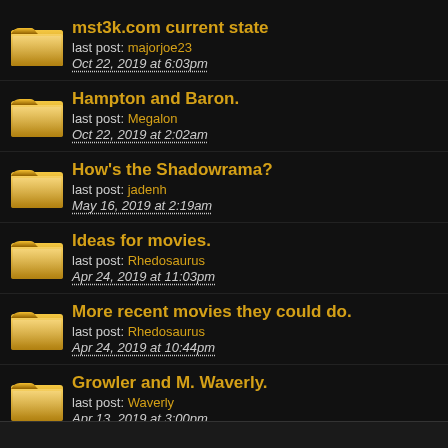mst3k.com current state
last post: majorjoe23
Oct 22, 2019 at 6:03pm
Hampton and Baron.
last post: Megalon
Oct 22, 2019 at 2:02am
How's the Shadowrama?
last post: jadenh
May 16, 2019 at 2:19am
Ideas for movies.
last post: Rhedosaurus
Apr 24, 2019 at 11:03pm
More recent movies they could do.
last post: Rhedosaurus
Apr 24, 2019 at 10:44pm
Growler and M. Waverly.
last post: Waverly
Apr 13, 2019 at 3:00pm